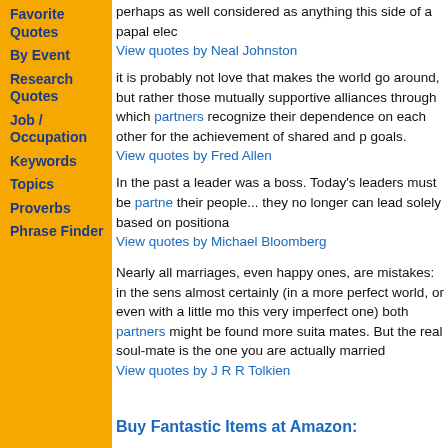Favorite Quotes
By Event
Research Quotes
Job / Occupation
Keywords
Topics
Proverbs
Phrase Finder
perhaps as well considered as anything this side of a papal elec
View quotes by Neal Johnston
it is probably not love that makes the world go around, but rather those mutually supportive alliances through which partners recognize their dependence on each other for the achievement of shared and private goals.
View quotes by Fred Allen
In the past a leader was a boss. Today's leaders must be partners with their people... they no longer can lead solely based on positional
View quotes by Michael Bloomberg
Nearly all marriages, even happy ones, are mistakes: in the sense that almost certainly (in a more perfect world, or even with a little more care in this very imperfect one) both partners might be found more suitable mates. But the real soul-mate is the one you are actually married
View quotes by J R R Tolkien
Buy Fantastic Items at Amazon: